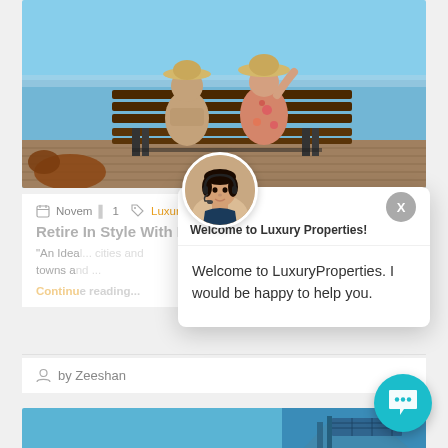[Figure (photo): Two elderly people sitting on a wooden bench by the water, viewed from behind, one wearing a floral shirt and straw hat. A dog is visible at lower left.]
November 1  |  Luxury Properties, Investment
Retire In Style With Luxury Properties
"An Ideal..." cities and towns a...
Continue reading...
[Figure (photo): Chat widget popup with agent photo. Header: Welcome to Luxury Properties! Body: Welcome to LuxuryProperties. I would be happy to help you.]
by Zeeshan
[Figure (photo): Partial view of a modern building with blue sky background.]